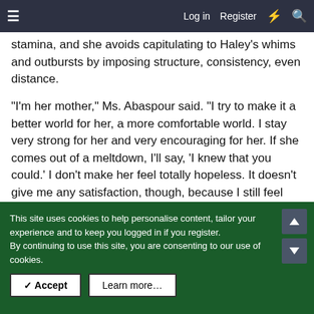Log in  Register
stamina, and she avoids capitulating to Haley's whims and outbursts by imposing structure, consistency, even distance.
"I'm her mother," Ms. Abaspour said. "I try to make it a better world for her, a more comfortable world. I stay very strong for her and very encouraging for her. If she comes out of a meltdown, I'll say, 'I knew that you could.' I don't make her feel totally hopeless. It doesn't give me any satisfaction, though, because I still feel helpless. Unfortunately it just bites you in the face all day long."
Ms. Abaspour's stoic approach, which her husband appreciates but cannot always emulate, is "a good coping skill for parents," Dr. Ellio...
This site uses cookies to help personalise content, tailor your experience and to keep you logged in if you register.
By continuing to use this site, you are consenting to our use of cookies.
✓ Accept
Learn more…